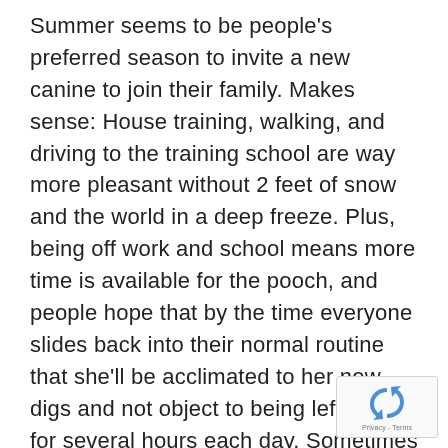Summer seems to be people's preferred season to invite a new canine to join their family. Makes sense: House training, walking, and driving to the training school are way more pleasant without 2 feet of snow and the world in a deep freeze. Plus, being off work and school means more time is available for the pooch, and people hope that by the time everyone slides back into their normal routine that she'll be acclimated to her new digs and not object to being left alone for several hours each day. Sometimes that works. And sometimes it doesn't, and the dog, suddenly without her social group members and despite best intentions, stresses out.
[Figure (logo): Google reCAPTCHA badge with rotating arrows icon and Privacy - Terms text]